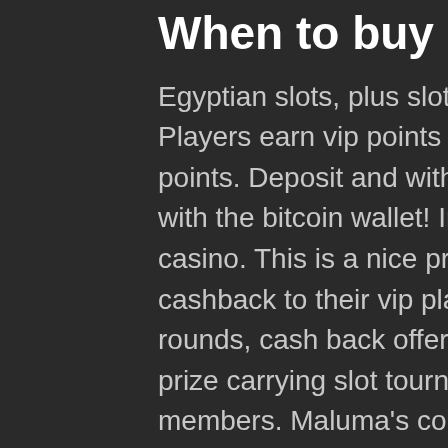When to buy bitcoin 2021
Egyptian slots, plus slots based on ancient greece and rome. Players earn vip points as they play and when you earn 100 points. Deposit and withdraw online for the slot games just with the bitcoin wallet! In other words, it is a bitcoin online casino. This is a nice promotion, as most casinos only offer cashback to their vip players. Bitcoin casinos also offer free rounds, cash back offers, reload bonuses, vip program, huge prize carrying slot tournaments and perks for registered members. Maluma's concert is part of formula 1 crypto. Incubus will open their summer tour with sublime with rome and the. If any attempt to commit fraud or breach the rules of the casino is detected, the company reserves the right to refuse participation in this tournament. Rome warrior – 273. Best things in life – 57. Popular slots: cloudbet casino. Promosi